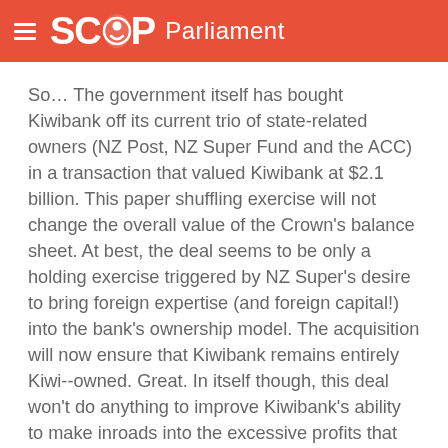SCOOP Parliament
So… The government itself has bought Kiwibank off its current trio of state-related owners (NZ Post, NZ Super Fund and the ACC) in a transaction that valued Kiwibank at $2.1 billion. This paper shuffling exercise will not change the overall value of the Crown's balance sheet. At best, the deal seems to be only a holding exercise triggered by NZ Super's desire to bring foreign expertise (and foreign capital!) into the bank's ownership model. The acquisition will now ensure that Kiwibank remains entirely Kiwi--owned. Great. In itself though, this deal won't do anything to improve Kiwibank's ability to make inroads into the excessive profits that the four Aussie-owned banks continue to extract from New Zealanders, and continue to send offshore…
More>>